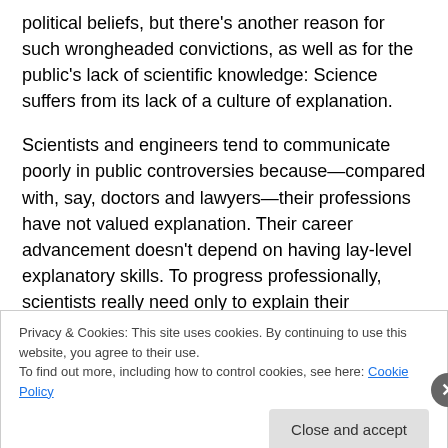political beliefs, but there's another reason for such wrongheaded convictions, as well as for the public's lack of scientific knowledge: Science suffers from its lack of a culture of explanation.
Scientists and engineers tend to communicate poorly in public controversies because—compared with, say, doctors and lawyers—their professions have not valued explanation. Their career advancement doesn't depend on having lay-level explanatory skills. To progress professionally, scientists really need only to explain their
Privacy & Cookies: This site uses cookies. By continuing to use this website, you agree to their use.
To find out more, including how to control cookies, see here: Cookie Policy
in less than a week